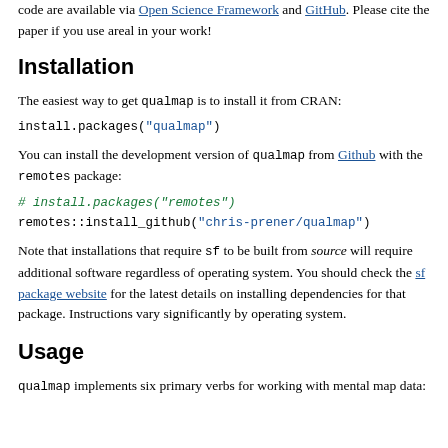code are available via Open Science Framework and GitHub. Please cite the paper if you use areal in your work!
Installation
The easiest way to get qualmap is to install it from CRAN:
You can install the development version of qualmap from Github with the remotes package:
Note that installations that require sf to be built from source will require additional software regardless of operating system. You should check the sf package website for the latest details on installing dependencies for that package. Instructions vary significantly by operating system.
Usage
qualmap implements six primary verbs for working with mental map data: